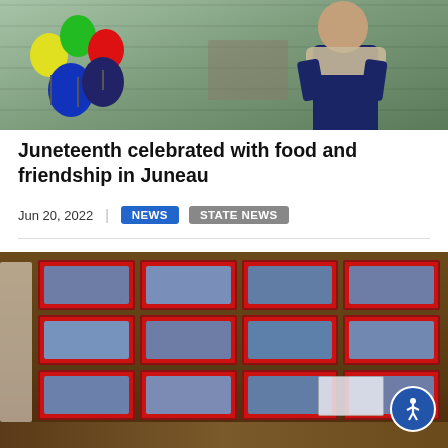[Figure (photo): Top photo showing colorful balloons (yellow, green, red, dark blue) on the left and a person wearing a dark blue jacket and gray scarf on the right, standing in what appears to a covered outdoor area with green block walls.]
Juneteenth celebrated with food and friendship in Juneau
Jun 20, 2022  |  NEWS  STATE NEWS
[Figure (photo): Bottom photo showing multiple red toolbox-style containers with compartments filled with blue plastic bags, arranged on a wooden table. An accessibility icon appears in the bottom right corner. A white card/paper is visible in the lower right area.]